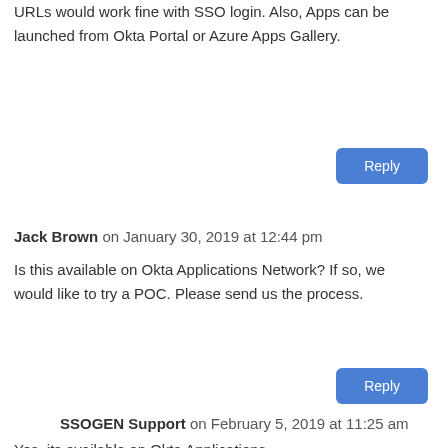URLs would work fine with SSO login. Also, Apps can be launched from Okta Portal or Azure Apps Gallery.
Reply
Jack Brown on January 30, 2019 at 12:44 pm
Is this available on Okta Applications Network? If so, we would like to try a POC. Please send us the process.
Reply
SSOGEN Support on February 5, 2019 at 11:25 am
Yes, its available on Okta Applications